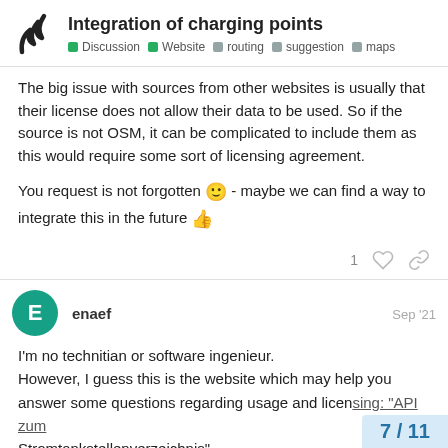Integration of charging points | Discussion | Website | routing | suggestion | maps
The big issue with sources from other websites is usually that their license does not allow their data to be used. So if the source is not OSM, it can be complicated to include them as this would require some sort of licensing agreement.
You request is not forgotten 🙂 - maybe we can find a way to integrate this in the future 👍
1 ♡ 🔗
enaef  Sep '21
I'm no technitian or software ingenieur.
However, I guess this is the website which may help you answer some questions regarding usage and licensing: "API zum Stromtankstellenverzeichnis"
7 / 11